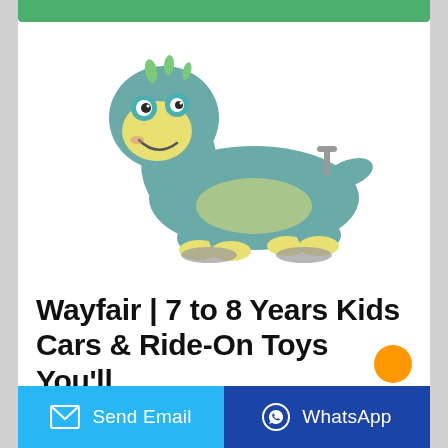[Figure (photo): A plush green dinosaur ride-on toy with yellow accents, smiling face, and small wheels on the bottom. The toy has a handle on the back and appears to be a stuffed animal rocker/ride-on for children.]
Wayfair | 7 to 8 Years Kids Cars & Ride-On Toys You'll ...